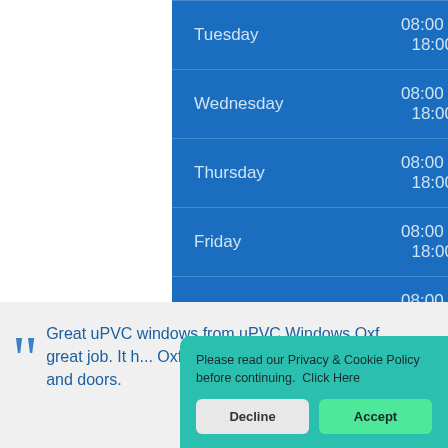| Day | Hours |
| --- | --- |
| Tuesday | 08:00 - 18:00 |
| Wednesday | 08:00 - 18:00 |
| Thursday | 08:00 - 18:00 |
| Friday | 08:00 - 18:00 |
| Saturday | 08:00 - 18:00 |
| Sunday | CLOSED |
Great uPVC windows from uPVC Windows Oxf... great job. It h... Oxfordshire w... uPVC windows and doors.
Please read our Privacy & Cookie Policy before continuing. Click Here